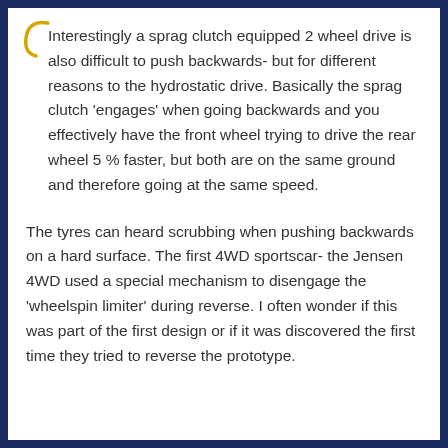Interestingly a sprag clutch equipped 2 wheel drive is also difficult to push backwards- but for different reasons to the hydrostatic drive. Basically the sprag clutch 'engages' when going backwards and you effectively have the front wheel trying to drive the rear wheel 5 % faster, but both are on the same ground and therefore going at the same speed.
The tyres can heard scrubbing when pushing backwards on a hard surface. The first 4WD sportscar- the Jensen 4WD used a special mechanism to disengage the 'wheelspin limiter' during reverse. I often wonder if this was part of the first design or if it was discovered the first time they tried to reverse the prototype.